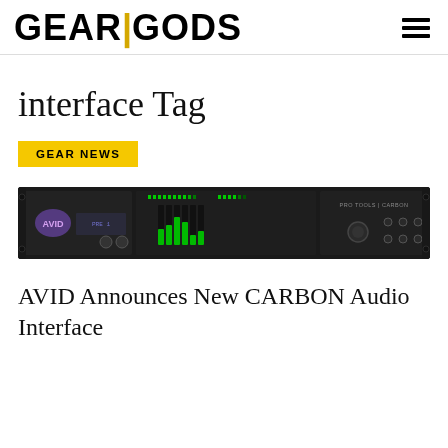GEAR GODS
interface Tag
GEAR NEWS
[Figure (photo): AVID Pro Tools Carbon audio interface rack unit, black with green LED meters and controls]
AVID Announces New CARBON Audio Interface